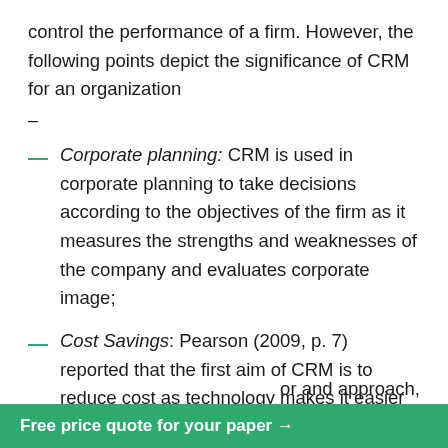control the performance of a firm. However, the following points depict the significance of CRM for an organization
–
Corporate planning: CRM is used in corporate planning to take decisions according to the objectives of the firm as it measures the strengths and weaknesses of the company and evaluates corporate image;
Cost Savings: Pearson (2009, p. 7) reported that the first aim of CRM is to reduce cost as technology makes it easier to reach target customers, sell products and services;
Market planning: CRM is considered as an effective tool in market planning to coordinate the company with its markets and customers, for example, it is important for identifying, estimating and describing
or and approach,
Free price quote for your paper →